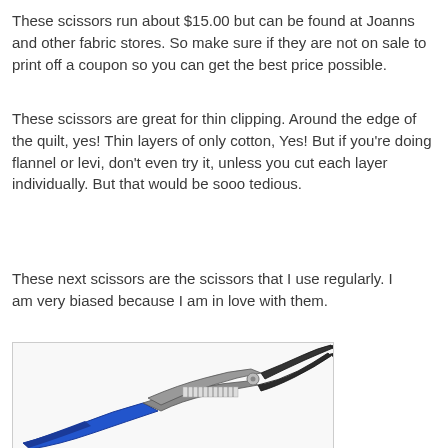These scissors run about $15.00 but can be found at Joanns and other fabric stores. So make sure if they are not on sale to print off a coupon so you can get the best price possible.
These scissors are great for thin clipping. Around the edge of the quilt, yes! Thin layers of only cotton, Yes! But if you're doing flannel or levi, don't even try it, unless you cut each layer individually. But that would be sooo tedious.
These next scissors are the scissors that I use regularly. I am very biased because I am in love with them.
[Figure (photo): A pair of scissors with blue handles and dark metal blades, shown at an angle. The scissors appear to be spring-loaded craft/sewing scissors.]